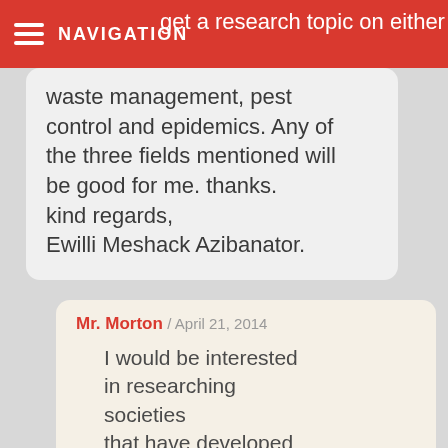NAVIGATION
get a research topic on either waste management, pest control and epidemics. Any of the three fields mentioned will be good for me. thanks. kind regards, Ewilli Meshack Azibanator.
Mr. Morton / April 21, 2014
I would be interested in researching societies that have developed interesting solutions to their